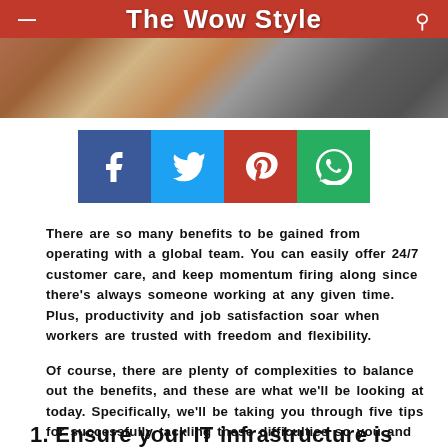The Wow Style
[Figure (screenshot): Social media share buttons: Facebook (blue), Twitter (light blue), Pinterest (red), WhatsApp (green)]
There are so many benefits to be gained from operating with a global team. You can easily offer 24/7 customer care, and keep momentum firing along since there's always someone working at any given time. Plus, productivity and job satisfaction soar when workers are trusted with freedom and flexibility.
Of course, there are plenty of complexities to balance out the benefits, and these are what we'll be looking at today. Specifically, we'll be taking you through five tips for successfully tackling these difficulties so you and your team can operate with optimal efficiency.
1.  Ensure your IT infrastructure is